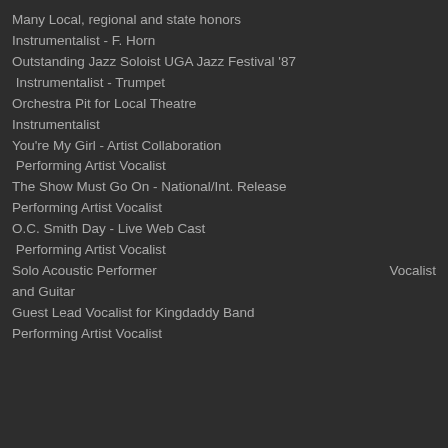Many Local, regional and state honors
Instrumentalist - F. Horn
Outstanding Jazz Soloist UGA Jazz Festival '87
Instrumentalist - Trumpet
Orchestra Pit for Local Theatre
Instrumentalist
You're My Girl - Artist Collaboration
Performing Artist Vocalist
The Show Must Go On - National/Int. Release
Performing Artist Vocalist
O.C. Smith Day - Live Web Cast
Performing Artist Vocalist
Solo Acoustic Performer                                        Vocalist and Guitar
Guest Lead Vocalist for Kingdaddy Band
Performing Artist Vocalist